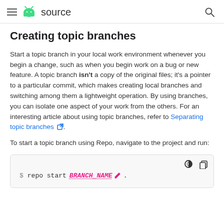≡ [android logo] source [search icon]
Creating topic branches
Start a topic branch in your local work environment whenever you begin a change, such as when you begin work on a bug or new feature. A topic branch isn't a copy of the original files; it's a pointer to a particular commit, which makes creating local branches and switching among them a lightweight operation. By using branches, you can isolate one aspect of your work from the others. For an interesting article about using topic branches, refer to Separating topic branches [external link].
To start a topic branch using Repo, navigate to the project and run:
[Figure (screenshot): Code block showing the command: $ repo start BRANCH_NAME . with a dark/light mode toggle and copy icon in the toolbar]